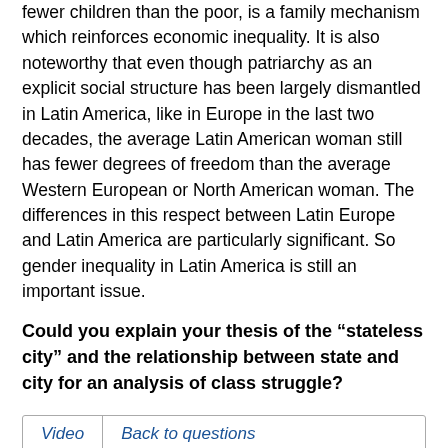fewer children than the poor, is a family mechanism which reinforces economic inequality. It is also noteworthy that even though patriarchy as an explicit social structure has been largely dismantled in Latin America, like in Europe in the last two decades, the average Latin American woman still has fewer degrees of freedom than the average Western European or North American woman. The differences in this respect between Latin Europe and Latin America are particularly significant. So gender inequality in Latin America is still an important issue.
Could you explain your thesis of the “stateless city” and the relationship between state and city for an analysis of class struggle?
| Video | Back to questions |
| --- | --- |